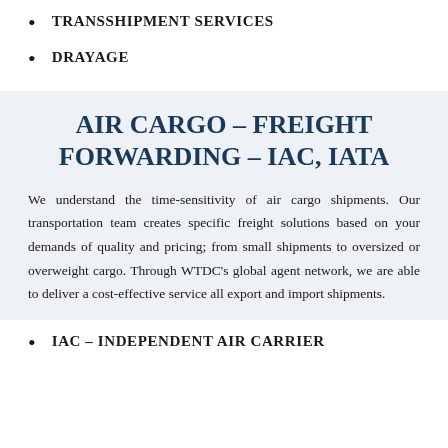TRANSSHIPMENT SERVICES
DRAYAGE
AIR CARGO – FREIGHT FORWARDING – IAC, IATA
We understand the time-sensitivity of air cargo shipments. Our transportation team creates specific freight solutions based on your demands of quality and pricing; from small shipments to oversized or overweight cargo. Through WTDC's global agent network, we are able to deliver a cost-effective service all export and import shipments.
IAC – INDEPENDENT AIR CARRIER